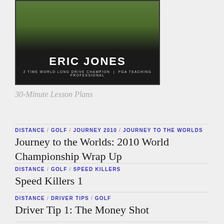[Figure (photo): Book/DVD cover with green and black background showing Eric Jones name and subtitle '2 Time World Long Drive Champion | PGA Teaching Professional']
30-Minute Lesson Plans
DISTANCE / GOLF / JOURNEY 2010 / JOURNEY TO THE WORLDS
Journey to the Worlds: 2010 World Championship Wrap Up
DISTANCE / GOLF / SPEED KILLERS
Speed Killers 1
DISTANCE / DRIVER TIPS / GOLF
Driver Tip 1: The Money Shot